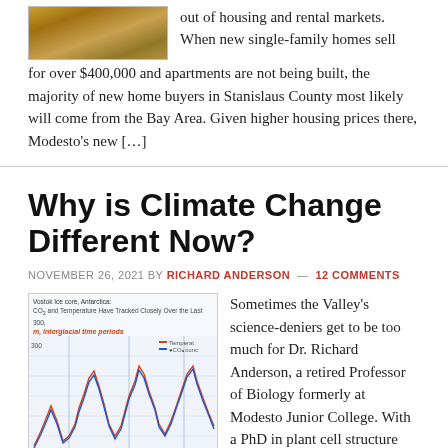[Figure (photo): Aerial or ground-level photo of dry, brown terrain (possibly farmland or dry hills)]
out of housing and rental markets. When new single-family homes sell for over $400,000 and apartments are not being built, the majority of new home buyers in Stanislaus County most likely will come from the Bay Area. Given higher housing prices there, Modesto's new […]
Why is Climate Change Different Now?
NOVEMBER 26, 2021 BY RICHARD ANDERSON — 12 COMMENTS
[Figure (line-chart): Chart from Vostok Ice core, Antarctica showing CO2 and Temperature tracked closely over the last 300,000 years, with warm/interglacial and glacial time periods marked]
Sometimes the Valley's science-deniers get to be too much for Dr. Richard Anderson, a retired Professor of Biology formerly at Modesto Junior College. With a PhD in plant cell structure and a master's degree in in marine biology, along with decades of further study, Anderson offers clear explanations of climate